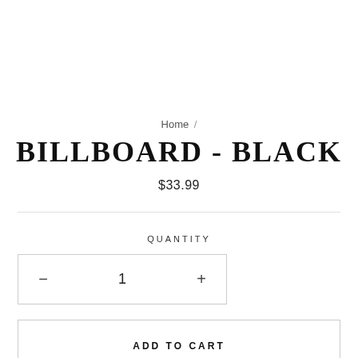Home /
BILLBOARD - BLACK
$33.99
QUANTITY
− 1 +
ADD TO CART